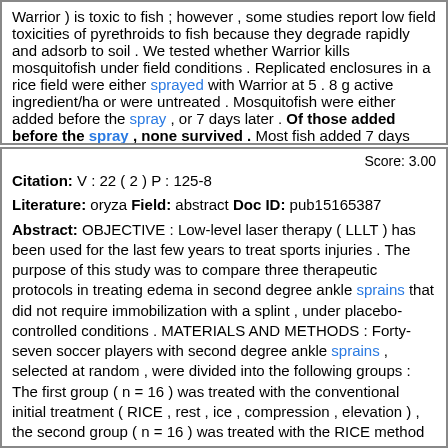Warrior ) is toxic to fish ; however , some studies report low field toxicities of pyrethroids to fish because they degrade rapidly and adsorb to soil . We tested whether Warrior kills mosquitofish under field conditions . Replicated enclosures in a rice field were either sprayed with Warrior at 5 . 8 g active ingredient/ha or were untreated . Mosquitofish were either added before the spray , or 7 days later . Of those added before the spray , none survived . Most fish added 7 days later survived .
Score: 3.00
Citation: V : 22 ( 2 ) P : 125-8
Literature: oryza Field: abstract Doc ID: pub15165387
Abstract: OBJECTIVE : Low-level laser therapy ( LLLT ) has been used for the last few years to treat sports injuries . The purpose of this study was to compare three therapeutic protocols in treating edema in second degree ankle sprains that did not require immobilization with a splint , under placebo-controlled conditions . MATERIALS AND METHODS : Forty-seven soccer players with second degree ankle sprains , selected at random , were divided into the following groups : The first group ( n = 16 ) was treated with the conventional initial treatment ( RICE , rest , ice , compression , elevation ) , the second group ( n = 16 ) was treated with the RICE method plus placebo laser , and the third group ( n = 15 ) was treated with the RICE method plus an 820-nm GaA1As diode laser with a radiant power output of 40 mW at 16 Hz . Before the treatment , and 24 , 48 , and 72 h later , the volume of the edema was measured . RESULTS : A three by three repeated measures ANOVA with a follow up post hoc test revealed that the group treated with the RICE and an 820-nm GaA1As diode laser presented a statistically significant reduction in the volume of the edema after 24 h ( 40 . 3 +/- 2 . 4 mL , p < 0 . 01 ) , 48 h ( 70 . 4 +/- 2 . 3 mL , p < 0 . 01 ) , 47 +/- 47 ...